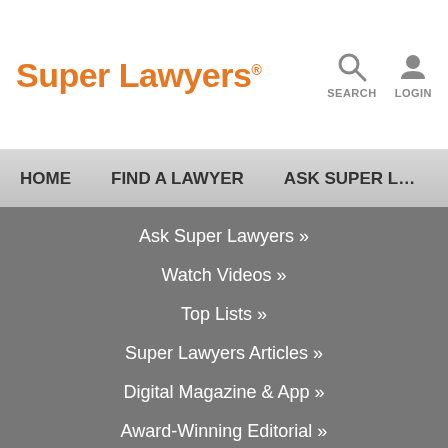Super Lawyers
Ask Super Lawyers »
Watch Videos »
Top Lists »
Super Lawyers Articles »
Digital Magazine & App »
Award-Winning Editorial »
Selection Process »
Regional Information »